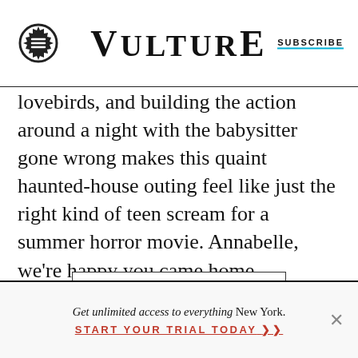Vulture | SUBSCRIBE
lovebirds, and building the action around a night with the babysitter gone wrong makes this quaint haunted-house outing feel like just the right kind of teen scream for a summer horror movie. Annabelle, we're happy you came home.
[Figure (other): Blank white advertisement box with black border]
Get unlimited access to everything New York. START YOUR TRIAL TODAY ➤➤